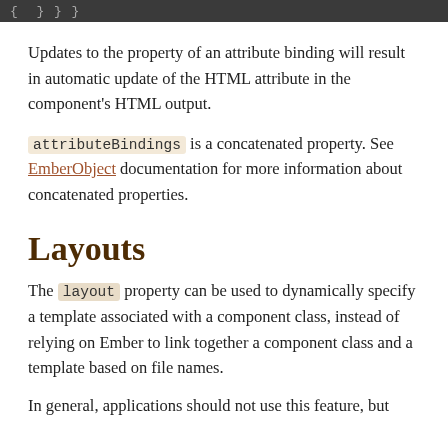[Figure (screenshot): Dark grey code block header bar with monospace text partially visible]
Updates to the property of an attribute binding will result in automatic update of the HTML attribute in the component's HTML output.
attributeBindings is a concatenated property. See EmberObject documentation for more information about concatenated properties.
Layouts
The layout property can be used to dynamically specify a template associated with a component class, instead of relying on Ember to link together a component class and a template based on file names.
In general, applications should not use this feature, but